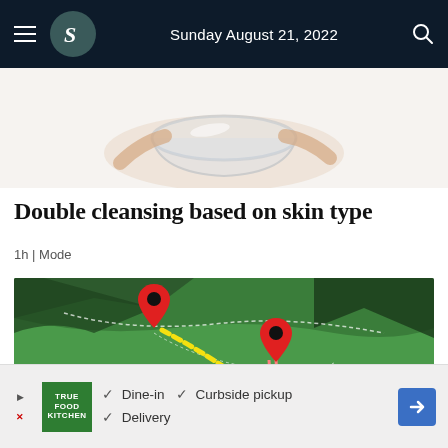Sunday August 21, 2022
[Figure (photo): Cropped photo of hands holding a glass bowl, white background, skincare context]
Double cleansing based on skin type
1h | Mode
[Figure (map): 3D terrain map with red location pins connected by yellow and pink dashed route lines across a green mountainous region]
[Figure (infographic): Advertisement banner for True Food Kitchen showing dine-in, curbside pickup, and delivery options with a blue directional arrow logo]